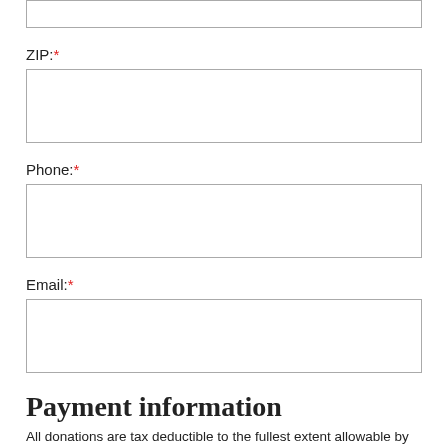[input box — top of page, partial]
ZIP: *
[ZIP input box]
Phone: *
[Phone input box]
Email: *
[Email input box]
Payment information
All donations are tax deductible to the fullest extent allowable by law. Fundraising for the Gaisel School of...